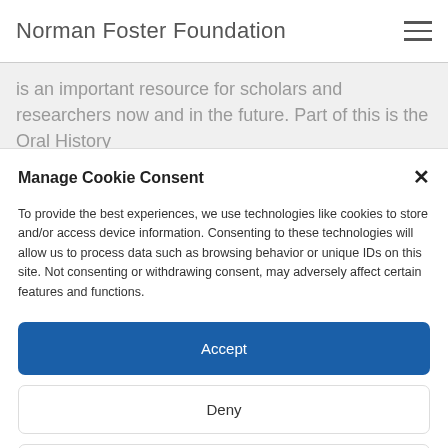Norman Foster Foundation
is an important resource for scholars and researchers now and in the future. Part of this is the Oral History
Manage Cookie Consent
To provide the best experiences, we use technologies like cookies to store and/or access device information. Consenting to these technologies will allow us to process data such as browsing behavior or unique IDs on this site. Not consenting or withdrawing consent, may adversely affect certain features and functions.
Accept
Deny
View preferences
Cookie Policy  Privacy policy